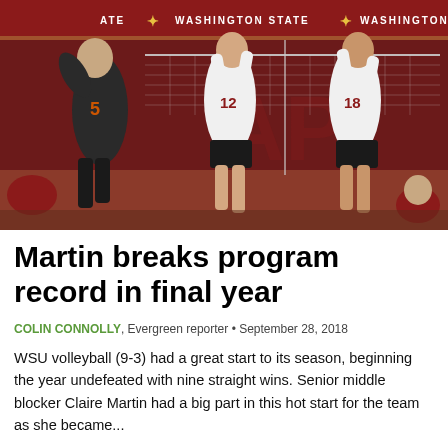[Figure (photo): Volleyball players at Washington State University gym. Two WSU players in white jerseys (numbers 12 and 18) jump at the net blocking, while an opposing player in dark jersey (number 5) attempts to spike. WSU branding visible on court backdrop.]
Martin breaks program record in final year
COLIN CONNOLLY, Evergreen reporter • September 28, 2018
WSU volleyball (9-3) had a great start to its season, beginning the year undefeated with nine straight wins. Senior middle blocker Claire Martin had a big part in this hot start for the team as she became...